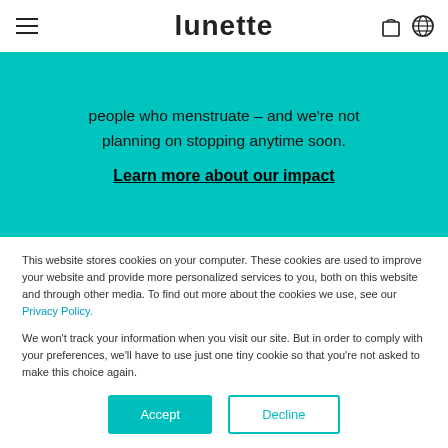lunette
people who menstruate – and we're not planning on stopping anytime soon.
Learn more about our impact
This website stores cookies on your computer. These cookies are used to improve your website and provide more personalized services to you, both on this website and through other media. To find out more about the cookies we use, see our Privacy Policy.
We won't track your information when you visit our site. But in order to comply with your preferences, we'll have to use just one tiny cookie so that you're not asked to make this choice again.
Accept
Decline